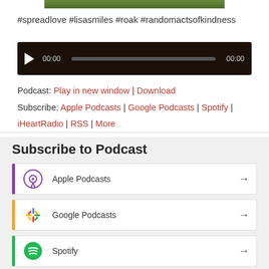[Figure (photo): Partial image of green grass/nature scene at top of page]
#spreadlove #lisasmiles #roak #randomactsofkindness
[Figure (other): Audio player widget with play button, progress bar showing 00:00 / 00:00]
Podcast: Play in new window | Download
Subscribe: Apple Podcasts | Google Podcasts | Spotify | iHeartRadio | RSS | More
Subscribe to Podcast
Apple Podcasts
Google Podcasts
Spotify